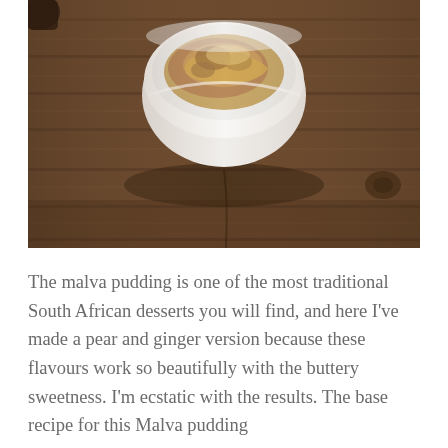[Figure (photo): Overhead/top-down photo of a white ceramic bowl containing malva pudding with a glossy sauce, placed on a rustic dark wooden table surface.]
The malva pudding is one of the most traditional South African desserts you will find, and here I've made a pear and ginger version because these flavours work so beautifully with the buttery sweetness. I'm ecstatic with the results. The base recipe for this Malva pudding